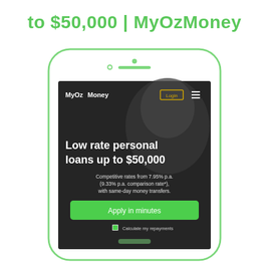to $50,000 | MyOzMoney
[Figure (screenshot): Mobile phone mockup showing MyOzMoney website with headline 'Low rate personal loans up to $50,000', subtext 'Competitive rates from 7.95% p.a. (9.33% p.a. comparison rate*), with same-day money transfers.', a green 'Apply in minutes' button, and 'Calculate my repayments' link at the bottom. The phone has a light green outline. The website screenshot shows a smiling woman in the background.]